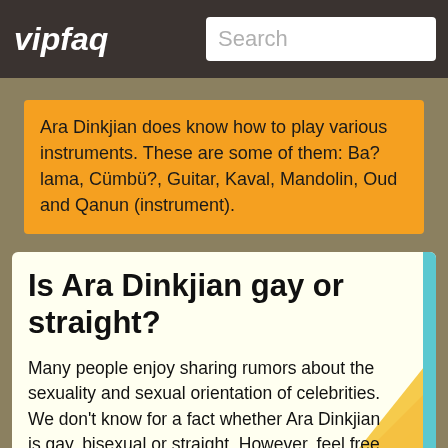vipfaq
Ara Dinkjian does know how to play various instruments. These are some of them: Ba?lama, Cümbü?, Guitar, Kaval, Mandolin, Oud and Qanun (instrument).
Is Ara Dinkjian gay or straight?
Many people enjoy sharing rumors about the sexuality and sexual orientation of celebrities. We don't know for a fact whether Ara Dinkjian is gay, bisexual or straight. However, feel free to tell us what you think! Vote by clicking below.